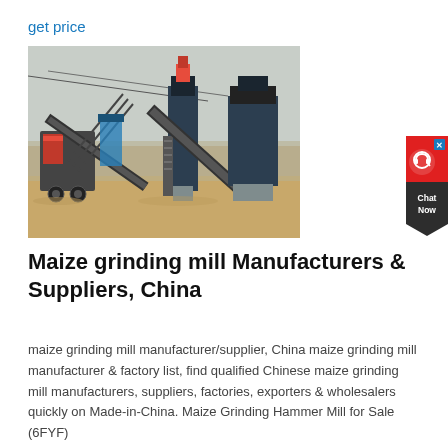get price
[Figure (photo): Photograph of industrial maize grinding mill machinery with conveyor belts and processing equipment outdoors on a dusty site]
Maize grinding mill Manufacturers & Suppliers, China
maize grinding mill manufacturer/supplier, China maize grinding mill manufacturer & factory list, find qualified Chinese maize grinding mill manufacturers, suppliers, factories, exporters & wholesalers quickly on Made-in-China. Maize Grinding Hammer Mill for Sale (6FYF)
[Figure (infographic): Red and dark grey chat widget button with headset icon and 'Chat Now' text]